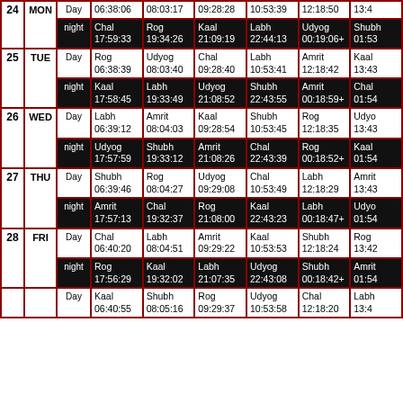| # | Day | Day/Night | Col1 | Col2 | Col3 | Col4 | Col5 | Col6 |
| --- | --- | --- | --- | --- | --- | --- | --- | --- |
| 24 | MON | Day | Day 06:38:06 | 08:03:17 | 09:28:28 | 10:53:39 | 12:18:50 | 13:4... |
| 24 | MON | night | Chal 17:59:33 | Rog 19:34:26 | Kaal 21:09:19 | Labh 22:44:13 | Udyog 00:19:06+ | Shubh 01:53... |
| 25 | TUE | Day | Rog 06:38:39 | Udyog 08:03:40 | Chal 09:28:40 | Labh 10:53:41 | Amrit 12:18:42 | Kaal 13:43... |
| 25 | TUE | night | Kaal 17:58:45 | Labh 19:33:49 | Udyog 21:08:52 | Shubh 22:43:55 | Amrit 00:18:59+ | Chal 01:54... |
| 26 | WED | Day | Labh 06:39:12 | Amrit 08:04:03 | Kaal 09:28:54 | Shubh 10:53:45 | Rog 12:18:35 | Udyog 13:43... |
| 26 | WED | night | Udyog 17:57:59 | Shubh 19:33:12 | Amrit 21:08:26 | Chal 22:43:39 | Rog 00:18:52+ | Kaal 01:54... |
| 27 | THU | Day | Shubh 06:39:46 | Rog 08:04:27 | Udyog 09:29:08 | Chal 10:53:49 | Labh 12:18:29 | Amrit 13:43... |
| 27 | THU | night | Amrit 17:57:13 | Chal 19:32:37 | Rog 21:08:00 | Kaal 22:43:23 | Labh 00:18:47+ | Udyog 01:54... |
| 28 | FRI | Day | Chal 06:40:20 | Labh 08:04:51 | Amrit 09:29:22 | Kaal 10:53:53 | Shubh 12:18:24 | Rog 13:42... |
| 28 | FRI | night | Rog 17:56:29 | Kaal 19:32:02 | Labh 21:07:35 | Udyog 22:43:08 | Shubh 00:18:42+ | Amrit 01:54... |
|  |  | Day | Kaal 06:40:55 | Shubh 08:05:16 | Rog 09:29:37 | Udyog 10:53:58 | Chal 12:18:20 | Labh 13:4... |